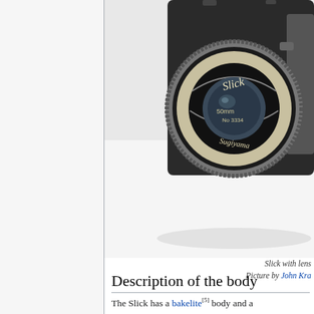[Figure (photo): Close-up photograph of a Slick camera with lens showing 'Slick' brand name, '50mm', 'No 3334', and 'Sugiyama' text on the lens. The camera body is dark/black with a metallic lens ring.]
Slick with lens
Picture by John Kra…
Description of the body
The Slick has a bakelite[5] body and a telesconic tube supporting the lens and…